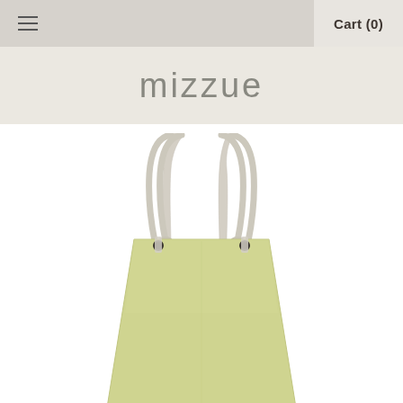≡   Cart (0)
mizzue
[Figure (photo): A light yellow-green structured tote bag with cream/beige leather handles that loop through metal grommets at the top of the bag. The bag has a trapezoidal shape, wider at the top and narrower at the bottom. The handles are shown extended upward against a white background.]